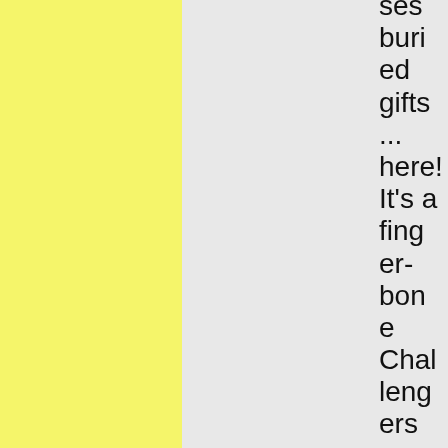ses buried gifts ... here! It's a finger-bone

Challengers appear A pack of hou